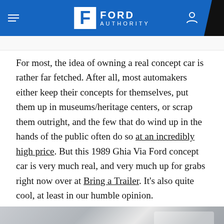FORD AUTHORITY
For most, the idea of owning a real concept car is rather far fetched. After all, most automakers either keep their concepts for themselves, put them up in museums/heritage centers, or scrap them outright, and the few that do wind up in the hands of the public often do so at an incredibly high price. But this 1989 Ghia Via Ford concept car is very much real, and very much up for grabs right now over at Bring a Trailer. It's also quite cool, at least in our humble opinion.
[Figure (photo): Photo of a 1989 Ghia Via Ford concept car interior/exterior, showing the roof, window, and body of the vehicle.]